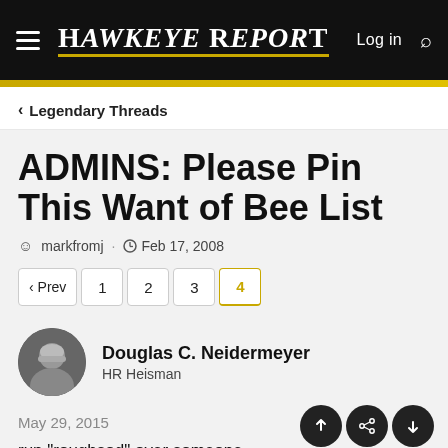Hawkeye Report — Log in
Legendary Threads
ADMINS: Please Pin This Want of Bee List
markfromj · Feb 17, 2008
Prev 1 2 3 4
Douglas C. Neidermeyer
HR Heisman
May 29, 2015
run "roughsod" over someone